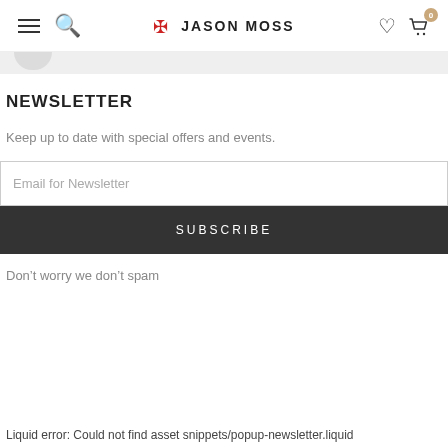JASON MOSS
NEWSLETTER
Keep up to date with special offers and events.
Email for Newsletter
SUBSCRIBE
Don't worry we don't spam
Liquid error: Could not find asset snippets/popup-newsletter.liquid